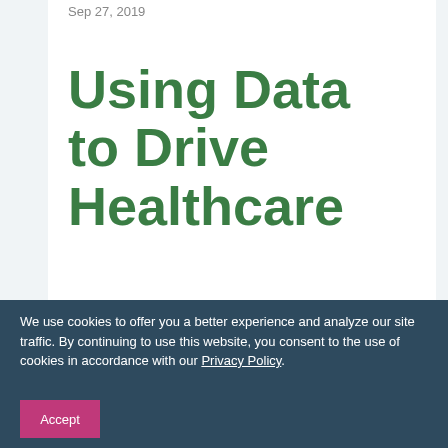Sep 27, 2019
Using Data to Drive Healthcare
We use cookies to offer you a better experience and analyze our site traffic. By continuing to use this website, you consent to the use of cookies in accordance with our Privacy Policy.
Accept